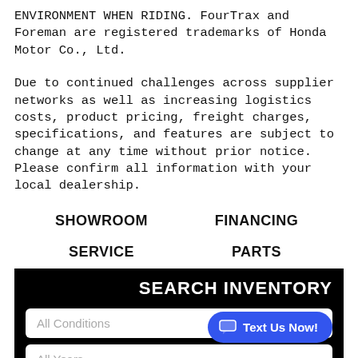ENVIRONMENT WHEN RIDING. FourTrax and Foreman are registered trademarks of Honda Motor Co., Ltd.
Due to continued challenges across supplier networks as well as increasing logistics costs, product pricing, freight charges, specifications, and features are subject to change at any time without prior notice. Please confirm all information with your local dealership.
SHOWROOM
FINANCING
SERVICE
PARTS
SEARCH INVENTORY
All Conditions
Text Us Now!
All Years